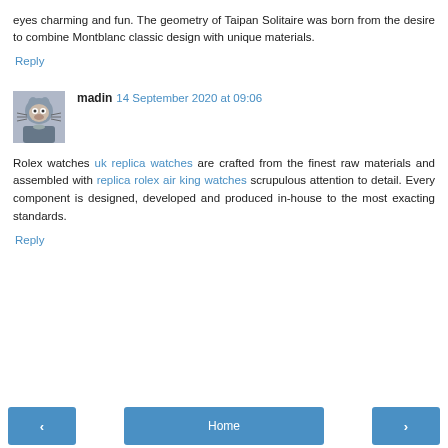eyes charming and fun. The geometry of Taipan Solitaire was born from the desire to combine Montblanc classic design with unique materials.
Reply
madin  14 September 2020 at 09:06
Rolex watches uk replica watches are crafted from the finest raw materials and assembled with replica rolex air king watches scrupulous attention to detail. Every component is designed, developed and produced in-house to the most exacting standards.
Reply
< Home >